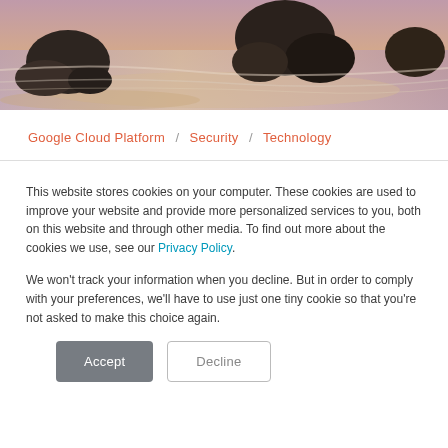[Figure (photo): Coastal scene with dark rocks on a sandy beach with soft pink and purple hues in the water and sky, long-exposure photography style]
Google Cloud Platform / Security / Technology
This website stores cookies on your computer. These cookies are used to improve your website and provide more personalized services to you, both on this website and through other media. To find out more about the cookies we use, see our Privacy Policy.
We won't track your information when you decline. But in order to comply with your preferences, we'll have to use just one tiny cookie so that you're not asked to make this choice again.